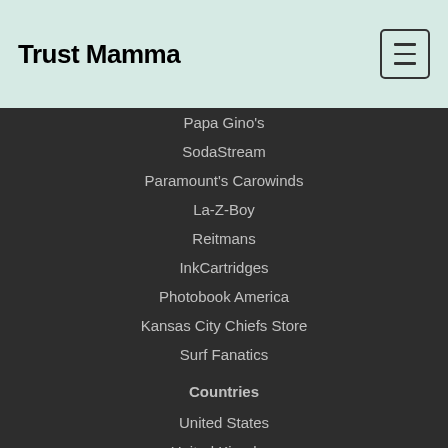Trust Mamma
Papa Gino's
SodaStream
Paramount's Carowinds
La-Z-Boy
Reitmans
InkCartridges
Photobook America
Kansas City Chiefs Store
Surf Fanatics
Countries
United States
United Kingdom
India